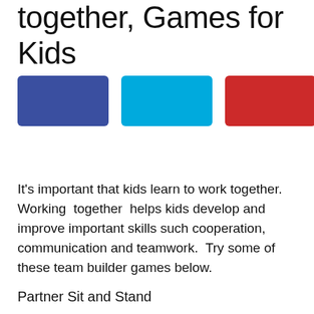together, Games for Kids
[Figure (other): Three colored rectangles side by side: blue, cyan/light blue, and red]
It's important that kids learn to work together. Working  together  helps kids develop and improve important skills such cooperation, communication and teamwork.  Try some of these team builder games below.
Partner Sit and Stand